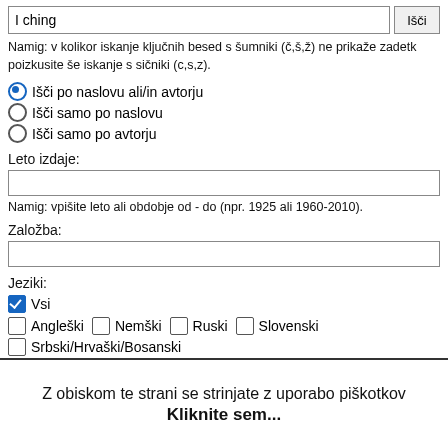I ching [search input] Išči [button]
Namig: v kolikor iskanje ključnih besed s šumniki (č,š,ž) ne prikaže zadetkov, poizkusite še iskanje s sičniki (c,s,z).
Išči po naslovu ali/in avtorju (selected)
Išči samo po naslovu
Išči samo po avtorju
Leto izdaje:
Namig: vpišite leto ali obdobje od - do (npr. 1925 ali 1960-2010).
Založba:
Jeziki:
Vsi (checked)
Angleški  Nemški  Ruski  Slovenski
Srbski/Hrvaški/Bosanski
Z obiskom te strani se strinjate z uporabo piškotkov
Kliknite sem...